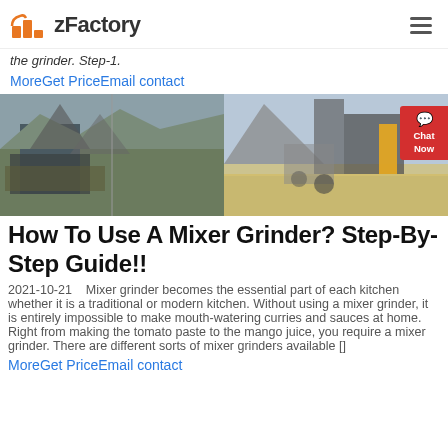zFactory
the grinder. Step-1.
MoreGet PriceEmail contact
[Figure (photo): Two industrial mining/crushing facility photographs side by side]
How To Use A Mixer Grinder? Step-By-Step Guide!!
2021-10-21    Mixer grinder becomes the essential part of each kitchen whether it is a traditional or modern kitchen. Without using a mixer grinder, it is entirely impossible to make mouth-watering curries and sauces at home. Right from making the tomato paste to the mango juice, you require a mixer grinder. There are different sorts of mixer grinders available []
MoreGet PriceEmail contact